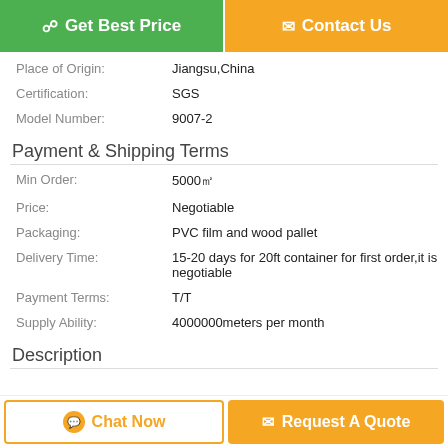[Figure (other): Two buttons: green 'Get Best Price' and orange 'Contact Us']
| Place of Origin: | Jiangsu,China |
| Certification: | SGS |
| Model Number: | 9007-2 |
Payment & Shipping Terms
| Min Order: | 5000㎡ |
| Price: | Negotiable |
| Packaging: | PVC film and wood pallet |
| Delivery Time: | 15-20 days for 20ft container for first order,it is negotiable |
| Payment Terms: | T/T |
| Supply Ability: | 4000000meters per month |
Description
[Figure (other): Two bottom buttons: outlined orange 'Chat Now' and filled orange 'Request A Quote']